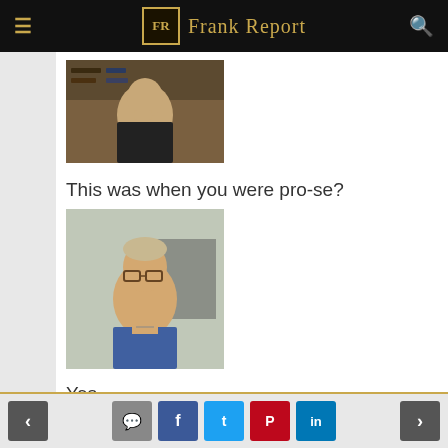Frank Report
[Figure (photo): Man with hand on chin, thinking pose, dark jacket, bookshelves in background]
This was when you were pro-se?
[Figure (photo): Man with glasses and blue shirt looking at camera]
Yes.
[Figure (photo): Man partially visible, bookshelves in background]
Navigation buttons: back, comment, facebook, twitter, pinterest, linkedin, forward